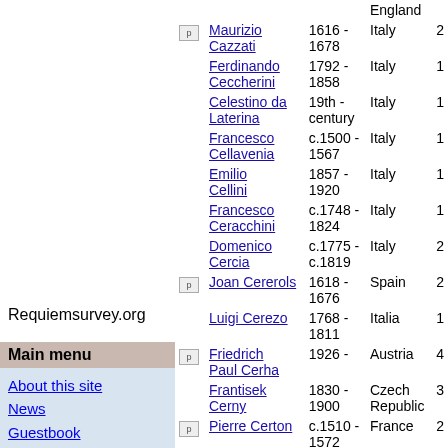|  | Name | Dates | Country | # |
| --- | --- | --- | --- | --- |
| p img | Maurizio Cazzati | 1616 - 1678 | Italy | 2 |
|  | Ferdinando Ceccherini | 1792 - 1858 | Italy | 1 |
|  | Celestino da Laterina | 19th - century | Italy | 1 |
|  | Francesco Cellavenia | c.1500 - 1567 | Italy | 1 |
|  | Emilio Cellini | 1857 - 1920 | Italy | 1 |
|  | Francesco Ceracchini | c.1748 - 1824 | Italy | 1 |
|  | Domenico Cercia | c.1775 - c.1819 | Italy | 2 |
| p img | Joan Cererols | 1618 - 1676 | Spain | 2 |
|  | Luigi Cerezo | 1768 - 1811 | Italia | 1 |
| p img | Friedrich Paul Cerha | 1926 - | Austria | 4 |
|  | Frantisek Cerny | 1830 - 1900 | Czech Republic | 3 |
| p img | Pierre Certon | c.1510 - 1572 | France | 2 |
|  | Giuseppe ... | 19th ... |  |  |
Requiemsurvey.org
Main menu
About this site
News
Guestbook
Requests